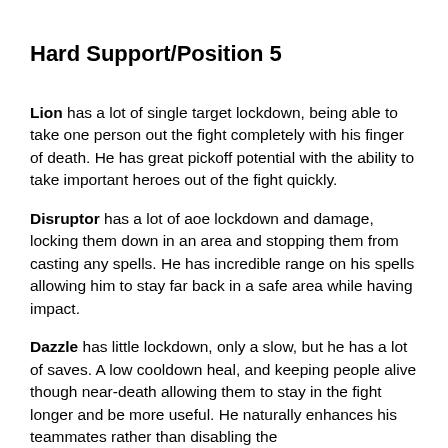Hard Support/Position 5
Lion has a lot of single target lockdown, being able to take one person out the fight completely with his finger of death. He has great pickoff potential with the ability to take important heroes out of the fight quickly.
Disruptor has a lot of aoe lockdown and damage, locking them down in an area and stopping them from casting any spells. He has incredible range on his spells allowing him to stay far back in a safe area while having impact.
Dazzle has little lockdown, only a slow, but he has a lot of saves. A low cooldown heal, and keeping people alive though near-death allowing them to stay in the fight longer and be more useful. He naturally enhances his teammates rather than disabling the